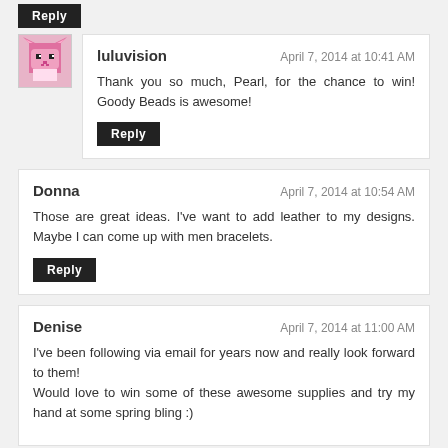Reply (button at top)
luluvision — April 7, 2014 at 10:41 AM
Thank you so much, Pearl, for the chance to win! Goody Beads is awesome!
Reply
Donna — April 7, 2014 at 10:54 AM
Those are great ideas. I've want to add leather to my designs. Maybe I can come up with men bracelets.
Reply
Denise — April 7, 2014 at 11:00 AM
I've been following via email for years now and really look forward to them!
Would love to win some of these awesome supplies and try my hand at some spring bling :)